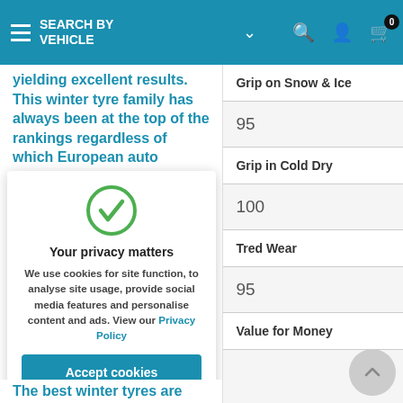SEARCH BY VEHICLE
yielding excellent results. This winter tyre family has always been at the top of the rankings regardless of which European auto magazine
[Figure (screenshot): Privacy consent modal with green checkmark circle icon, title 'Your privacy matters', cookie usage description, a blue 'Accept cookies' button, and a 'Decline' text link]
The best winter tyres are
| Category | Score |
| --- | --- |
| Grip on Snow & Ice |  |
|  | 95 |
| Grip in Cold Dry |  |
|  | 100 |
| Tred Wear |  |
|  | 95 |
| Value for Money |  |